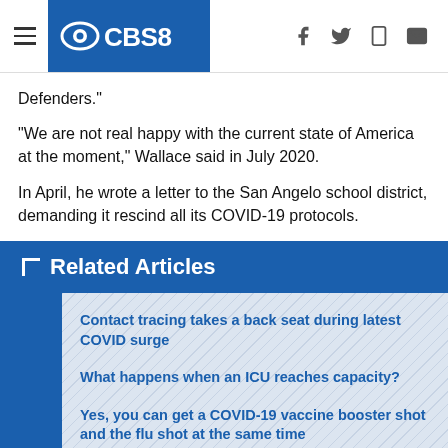CBS8
Defenders."
“We are not real happy with the current state of America at the moment,” Wallace said in July 2020.
In April, he wrote a letter to the San Angelo school district, demanding it rescind all its COVID-19 protocols.
Related Articles
Contact tracing takes a back seat during latest COVID surge
What happens when an ICU reaches capacity?
Yes, you can get a COVID-19 vaccine booster shot and the flu shot at the same time